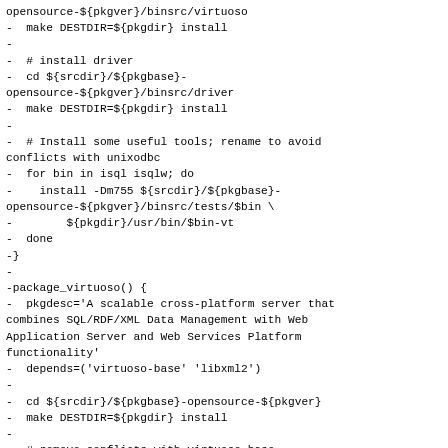opensource-${pkgver}/binsrc/virtuoso
-  make DESTDIR=${pkgdir} install
-
-  # install driver
-  cd ${srcdir}/${pkgbase}-opensource-${pkgver}/binsrc/driver
-  make DESTDIR=${pkgdir} install
-
-  # Install some useful tools; rename to avoid conflicts with unixodbc
-  for bin in isql isqlw; do
-    install -Dm755 ${srcdir}/${pkgbase}-opensource-${pkgver}/binsrc/tests/$bin \
-        ${pkgdir}/usr/bin/$bin-vt
-  done
-}
-
-package_virtuoso() {
-  pkgdesc='A scalable cross-platform server that combines SQL/RDF/XML Data Management with Web Application Server and Web Services Platform functionality'
-  depends=('virtuoso-base' 'libxml2')
-
-  cd ${srcdir}/${pkgbase}-opensource-${pkgver}
-  make DESTDIR=${pkgdir} install
-
-  # remove conflicts with virtuoso-base
-  rm "${pkgdir}"/usr/bin/virtuoso-t
-  rm "${pkgdir}"/usr/lib/libvirtuoso-t.a